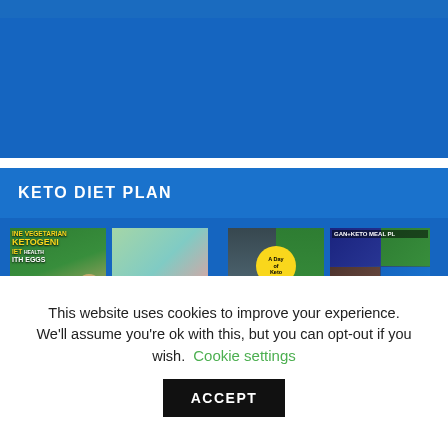[Figure (screenshot): Blue banner area at top of webpage]
KETO DIET PLAN
[Figure (illustration): Grid of keto diet plan book cover thumbnails: Ketogenic Diet with Eggs, Vegan + Vegetarian Keto Meals, A Day of Keto, Vegan+Keto Meal Plan, Ketogenic Diet Plan Lose Fat Fast]
This website uses cookies to improve your experience. We'll assume you're ok with this, but you can opt-out if you wish.
Cookie settings
ACCEPT